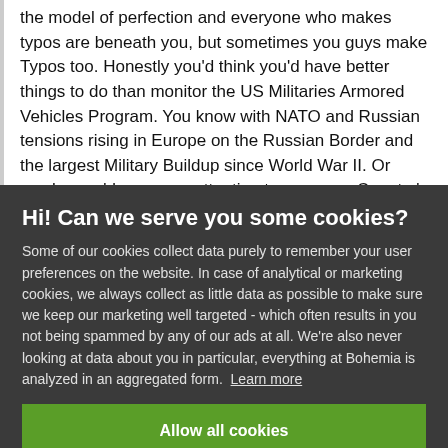the model of perfection and everyone who makes typos are beneath you, but sometimes you guys make Typos too. Honestly you'd think you'd have better things to do than monitor the US Militaries Armored Vehicles Program. You know with NATO and Russian tensions rising in Europe on the Russian Border and the largest Military Buildup since World War II. Or maybe you'd even pay attention to your own Country's current Tanks, like I don't know, the Bk 860 The Bk 91 MBT is a gift, looking at technologies
Hi! Can we serve you some cookies?
Some of our cookies collect data purely to remember your user preferences on the website. In case of analytical or marketing cookies, we always collect as little data as possible to make sure we keep our marketing well targeted - which often results in you not being spammed by any of our ads at all. We're also never looking at data about you in particular, everything at Bohemia is analyzed in an aggregated form. Learn more
Allow all cookies
I want more options